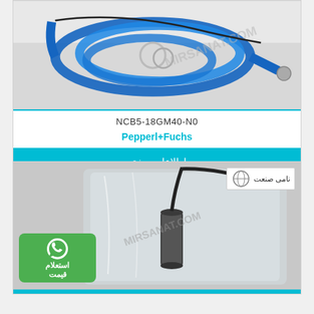[Figure (photo): Blue coiled cable/wire with metal connectors and fittings, product photo on white/gray background with watermark text]
NCB5-18GM40-N0
Pepperl+Fuchs
اطلاعات بیشتر
[Figure (photo): Proximity sensor (cylindrical, dark body) with black cable, packaged in clear plastic bag, with نامی صنعت logo overlay in top right and WhatsApp inquiry button overlay in bottom left]
استعلام قیمت